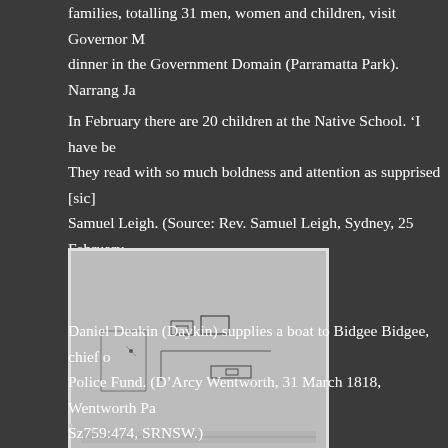families, totalling 31 men, women and children, visit Governor M... dinner in the Government Domain (Parramatta Park). Narrang Ja...
In February there are 20 children at the Native School. 'I have be... They read with so much boldness and attention as supprised [sic]... Samuel Leigh. (Source: Rev. Samuel Leigh, Sydney, 25 February...
[Figure (schematic): A hand-drawn or scanned schematic/technical drawing showing building or site layout with small rectangular shapes and lines on a grey background.]
Daniel Deakin (Daykin) supplies a boat to Bidgee Bidgee, chief o... Police Fund. (D'Arcy Wentworth, 31 March 1818, Wentworth Pa... Sz759:474, SRNSW.)
▪